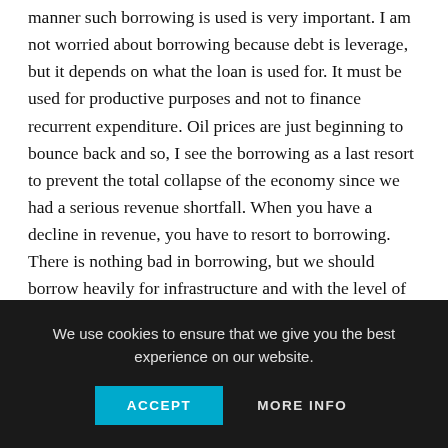Borrowing in itself is not a bad economic strategy, but the manner such borrowing is used is very important. I am not worried about borrowing because debt is leverage, but it depends on what the loan is used for. It must be used for productive purposes and not to finance recurrent expenditure. Oil prices are just beginning to bounce back and so, I see the borrowing as a last resort to prevent the total collapse of the economy since we had a serious revenue shortfall. When you have a decline in revenue, you have to resort to borrowing. There is nothing bad in borrowing, but we should borrow heavily for infrastructure and with the level of revenue challenges we are having in the country, it would not be easy servicing some of these debts. •Mr. Godwin Eohoi (Registrar,
We use cookies to ensure that we give you the best experience on our website.
ACCEPT
MORE INFO